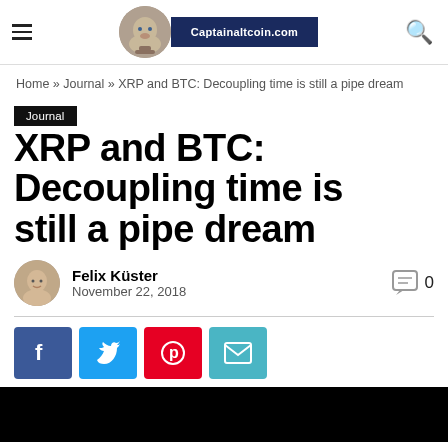Captainaltcoin.com
Home » Journal » XRP and BTC: Decoupling time is still a pipe dream
Journal
XRP and BTC: Decoupling time is still a pipe dream
Felix Küster
November 22, 2018
[Figure (photo): Black image strip at bottom of page]